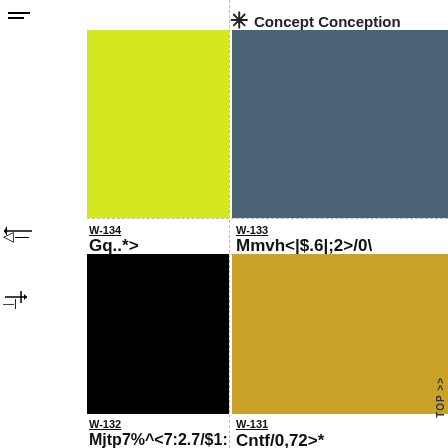Concept Conception
[Figure (illustration): Yellow/lime green color block (top left card thumbnail)]
[Figure (illustration): Slate/dark teal color block (top right card thumbnail)]
W-134
Gq..*>
View Project >
W-133
Mmvh<|$.6|;2>/0\
View Project >
[Figure (illustration): Black color block (bottom left card thumbnail)]
[Figure (illustration): Gold/yellow color block (bottom right card thumbnail)]
W-132
Mjtp7%^<7:2.7/$1: 217^1|2027;
W-131
Cntf/0,72>*
View Project >
TOP >>